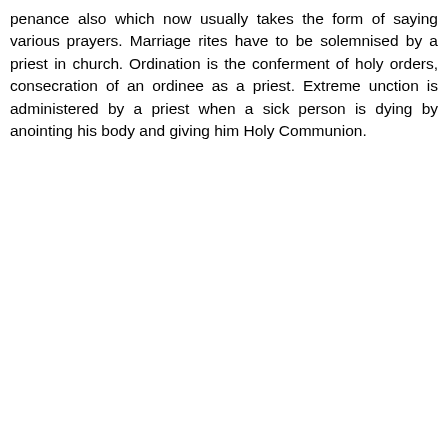penance also which now usually takes the form of saying various prayers. Marriage rites have to be solemnised by a priest in church. Ordination is the conferment of holy orders, consecration of an ordinee as a priest. Extreme unction is administered by a priest when a sick person is dying by anointing his body and giving him Holy Communion.